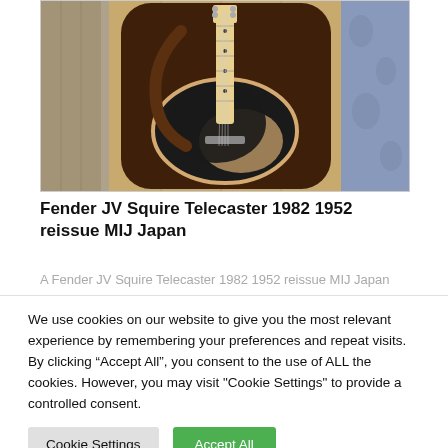[Figure (photo): A Fender JV Squire Telecaster guitar with black and blonde finish in a brown hardshell case, placed against a wooden wall background with floral fabric visible on the sides.]
Fender JV Squire Telecaster 1982 1952 reissue MIJ Japan
A Fender JV Squire Telecaster 1982 1952 reissue MIJ Japan
We use cookies on our website to give you the most relevant experience by remembering your preferences and repeat visits. By clicking “Accept All”, you consent to the use of ALL the cookies. However, you may visit "Cookie Settings" to provide a controlled consent.